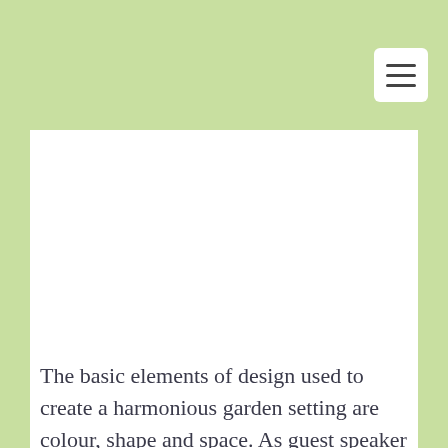[Figure (photo): White rectangular image area, likely a photo placeholder or image of a garden/plant scene]
The basic elements of design used to create a harmonious garden setting are colour, shape and space. As guest speaker at a recent meeting of Chester Garden Club, Gena Rafuse, owner of Pumpkin Patch Farms, illustrated the